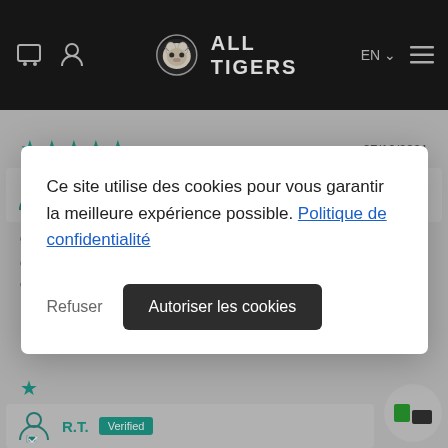[Figure (screenshot): All Tigers website header with dark background, shopping cart icon, user icon, tiger logo with 'ALL TIGERS' text, EN language selector, and hamburger menu icon]
[Figure (screenshot): Review section showing 4 stars, date 27/10/2021, reviewer Nathalie CABART with Verified badge, review title 'Canard' partially visible, and review body text partially obscured by modal]
Ce site utilise des cookies pour vous garantir la meilleure expérience possible. Politique de confidentialité
Refuser
Autoriser les cookies
[Figure (screenshot): Bottom reviewer section with 1 star and reviewer R.T. with Verified badge, and a green chat widget circle at bottom right]